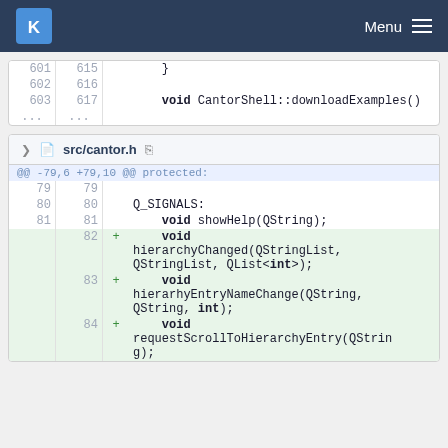KDE Menu
| old | new | marker | code |
| --- | --- | --- | --- |
| 601 | 615 |  | } |
| 602 | 616 |  |  |
| 603 | 617 |  | void CantorShell::downloadExamples() |
| ... | ... |  |  |
src/cantor.h
| old | new | marker | code |
| --- | --- | --- | --- |
| ... | ... |  | @@ -79,6 +79,10 @@ protected: |
| 79 | 79 |  |  |
| 80 | 80 |  | Q_SIGNALS: |
| 81 | 81 |  |     void showHelp(QString); |
|  | 82 | + |     void hierarchyChanged(QStringList, QStringList, QList<int>); |
|  | 83 | + |     void hierarhyEntryNameChange(QString, QString, int); |
|  | 84 | + |     void requestScrollToHierarchyEntry(QString); |